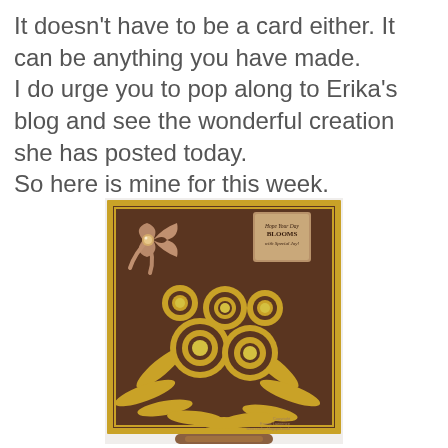It doesn't have to be a card either. It can be anything you have made. I do urge you to pop along to Erika's blog and see the wonderful creation she has posted today. So here is mine for this week.
[Figure (photo): A handmade craft card with brown and gold floral die-cut design, featuring layered flowers, leaves, a decorative bow with pearl center, and a sentiment tag reading 'Hope Your Day BLOOMS with Special Joy'. The card is mounted on a gold-bordered base. Copyright Emma Lawrence, www.cardian.blogspot.co.uk]